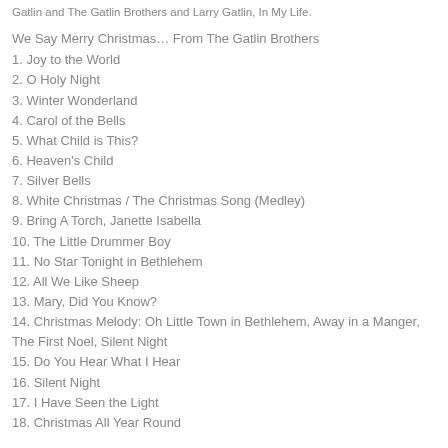Gatlin and The Gatlin Brothers and Larry Gatlin, In My Life.
We Say Merry Christmas… From The Gatlin Brothers
1. Joy to the World
2. O Holy Night
3. Winter Wonderland
4. Carol of the Bells
5. What Child is This?
6. Heaven's Child
7. Silver Bells
8. White Christmas / The Christmas Song (Medley)
9. Bring A Torch, Janette Isabella
10. The Little Drummer Boy
11. No Star Tonight in Bethlehem
12. All We Like Sheep
13. Mary, Did You Know?
14. Christmas Melody: Oh Little Town in Bethlehem, Away in a Manger, The First Noel, Silent Night
15. Do You Hear What I Hear
16. Silent Night
17. I Have Seen the Light
18. Christmas All Year Round